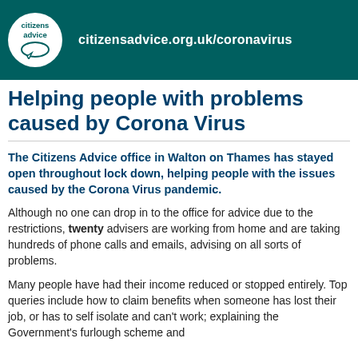citizensadvice.org.uk/coronavirus
Helping people with problems caused by Corona Virus
The Citizens Advice office in Walton on Thames has stayed open throughout lock down, helping people with the issues caused by the Corona Virus pandemic.
Although no one can drop in to the office for advice due to the restrictions, twenty advisers are working from home and are taking hundreds of phone calls and emails, advising on all sorts of problems.
Many people have had their income reduced or stopped entirely. Top queries include how to claim benefits when someone has lost their job, or has to self isolate and can't work; explaining the Government's furlough scheme and